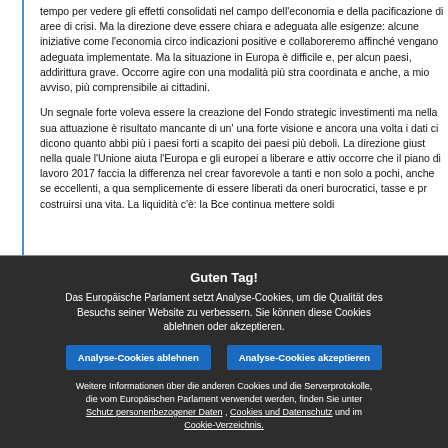tempo per vedere gli effetti consolidati nel campo dell'economia e della pacificazione di aree di crisi. Ma la direzione deve essere chiara e adeguata alle esigenze: alcune iniziative come l'economia circolare danno indicazioni positive e collaboreremo affinché vengano adeguatamente implementate. Ma la situazione in Europa è difficile e, per alcuni paesi, addirittura grave. Occorre agire con una modalità più strategica, coordinata e anche, a mio avviso, più comprensibile ai cittadini.
Un segnale forte voleva essere la creazione del Fondo strategico per gli investimenti ma nella sua attuazione è risultato mancante di un'adeguata e una forte visione e ancora una volta i dati ci dicono quanto abbia beneficiato più i paesi forti a scapito dei paesi più deboli. La direzione giusta è quella nella quale l'Unione aiuta l'Europa e gli europei a liberare e attivare, occorre che il piano di lavoro 2017 faccia la differenza nel creare condizioni favorevole a tanti e non solo a pochi, anche se eccellenti, a quanti vogliono semplicemente di essere liberati da oneri burocratici, tasse e pr costruirsi una vita. La liquidità c'è: la Bce continua mettere soldi
Guten Tag!
Das Europäische Parlament setzt Analyse-Cookies, um die Qualität des Besuchs seiner Website zu verbessern. Sie können diese Cookies ablehnen oder akzeptieren.
Analyse-Cookies ablehnen
Analyse-Cookies akzeptieren
Weitere Informationen über die anderen Cookies und die Serverprotokolle, die vom Europäischen Parlament verwendet werden, finden Sie unter Schutz personenbezogener Daten , Cookies und Datenschutz und im Cookie-Verzeichnis.